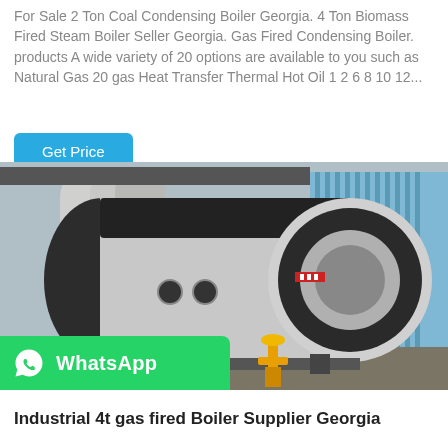For Sale 2 Ton Coal Condensing Boiler Georgia. 4 Ton Biomass Fired Steam Boiler Seller Georgia. Gas Fired Condensing Boiler. products A wide variety of 20 options are available to you such as Natural Gas 20 gas Heat Transfer Thermal Hot Oil 1 2 6 8 10 12...
Get Price
[Figure (photo): Industrial gas fired boiler — a large horizontal cylindrical silver/black boiler sitting on a factory floor outdoors, with industrial buildings visible in the background, yellow piping and valves in the foreground. A green WhatsApp button overlay appears at bottom-left.]
Industrial 4t gas fired Boiler Supplier Georgia